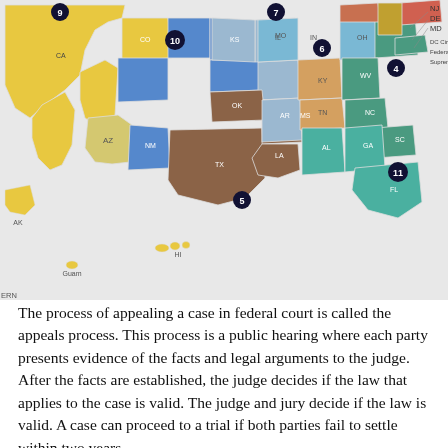[Figure (map): Map of the United States federal circuit courts of appeals, showing numbered circuits (1-11) plus DC Circuit, Federal Circuit, and Supreme Court, with states colored by circuit. Includes insets for Puerto Rico, U.S. Virgin Islands, Guam, and AK/HI. States labeled with abbreviations.]
The process of appealing a case in federal court is called the appeals process. This process is a public hearing where each party presents evidence of the facts and legal arguments to the judge. After the facts are established, the judge decides if the law that applies to the case is valid. The judge and jury decide if the law is valid. A case can proceed to a trial if both parties fail to settle within two years.
State courts are similar to federal courts, but a case can end up in federal court if one party disagrees with the outcome of the case. Each state has its own trial courts,